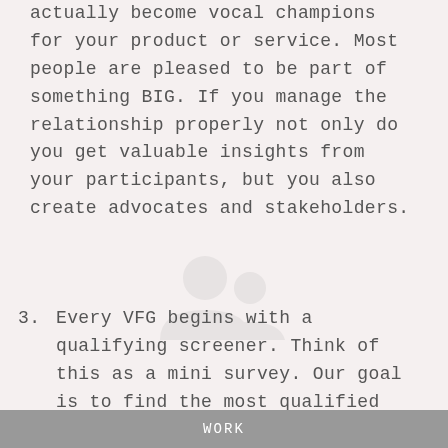actually become vocal champions for your product or service. Most people are pleased to be part of something BIG. If you manage the relationship properly not only do you get valuable insights from your participants, but you also create advocates and stakeholders.
3. Every VFG begins with a qualifying screener. Think of this as a mini survey. Our goal is to find the most qualified participants from a larger population within your target market. We've learned that a properly designed
WORK